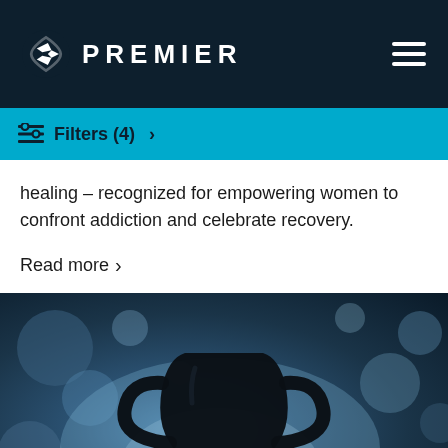PREMIER
Filters (4)
healing – recognized for empowering women to confront addiction and celebrate recovery.

Read more
[Figure (photo): Dark silhouette of a trophy cup against a blurred bokeh background with blue and white lighting]